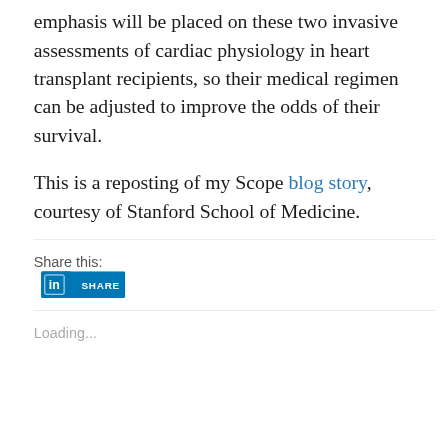emphasis will be placed on these two invasive assessments of cardiac physiology in heart transplant recipients, so their medical regimen can be adjusted to improve the odds of their survival.
This is a reposting of my Scope blog story, courtesy of Stanford School of Medicine.
[Figure (other): LinkedIn Share button — blue rectangle with 'in' logo and 'SHARE' text in white]
Share this:
Loading...